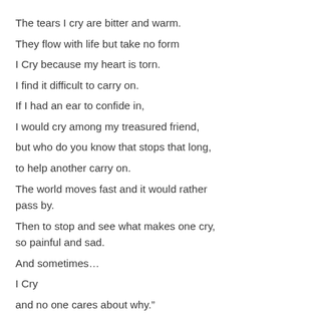The tears I cry are bitter and warm.
They flow with life but take no form
I Cry because my heart is torn.
I find it difficult to carry on.
If I had an ear to confide in,
I would cry among my treasured friend,
but who do you know that stops that long,
to help another carry on.
The world moves fast and it would rather pass by.
Then to stop and see what makes one cry,
so painful and sad.
And sometimes…
I Cry
and no one cares about why."